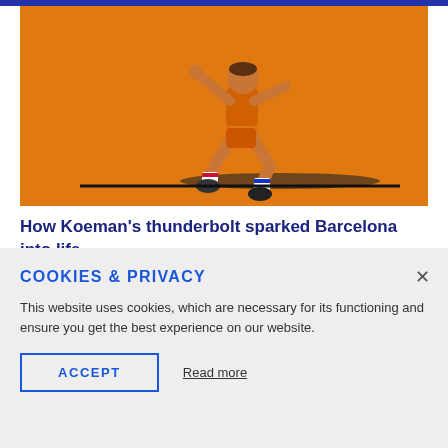[Figure (illustration): Stylized illustration of a soccer player in orange kit running/kicking against an orange background, with a shadow beneath]
How Koeman's thunderbolt sparked Barcelona into life
COOKIES & PRIVACY
This website uses cookies, which are necessary for its functioning and ensure you get the best experience on our website.